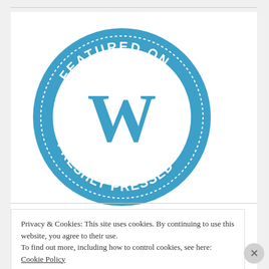[Figure (logo): WordPress 'Featured on Freshly Pressed' circular badge in blue with white WordPress W logo in center, text around ring reading FEATURED ON at top and FRESHLY PRESSED at bottom, with small heart symbols on sides]
[Figure (logo): Ninjamatics 2013 logo/badge partially visible, with orange text reading NINJAMATICS and large red numbers 2013, with a Canadian maple leaf badge overlay]
Privacy & Cookies: This site uses cookies. By continuing to use this website, you agree to their use.
To find out more, including how to control cookies, see here: Cookie Policy
Close and accept